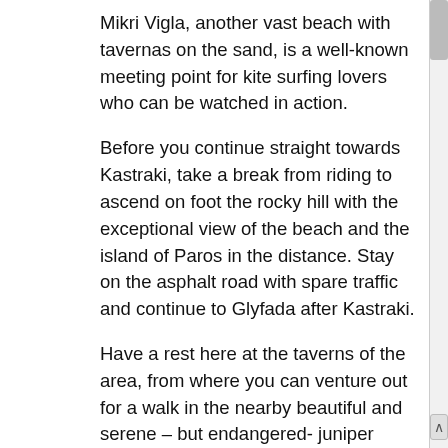Mikri Vigla, another vast beach with tavernas on the sand, is a well-known meeting point for kite surfing lovers who can be watched in action.
Before you continue straight towards Kastraki, take a break from riding to ascend on foot the rocky hill with the exceptional view of the beach and the island of Paros in the distance. Stay on the asphalt road with spare traffic and continue to Glyfada after Kastraki.
Have a rest here at the taverns of the area, from where you can venture out for a walk in the nearby beautiful and serene – but endangered- juniper forest – a protected area.
Back on your bike, continue on the asphalt road in a southerly direction until you reach the ruins of an enormous abandoned hotel at Cape Kouroupa, viewing the bay of Alyko.
From this point start your return journey, heading north